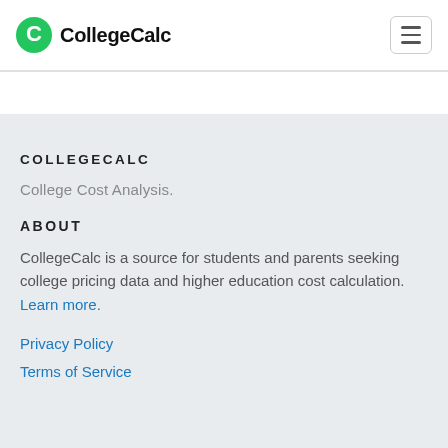CollegeCalc
COLLEGECALC
College Cost Analysis.
ABOUT
CollegeCalc is a source for students and parents seeking college pricing data and higher education cost calculation. Learn more.
Privacy Policy
Terms of Service